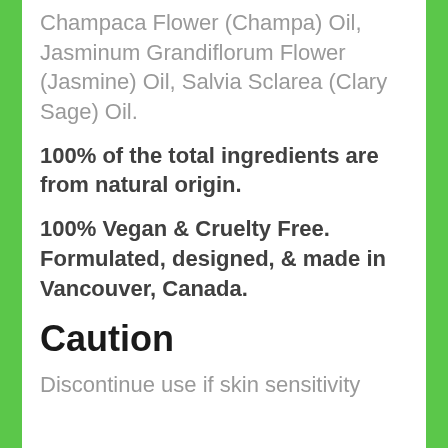Champaca Flower (Champa) Oil, Jasminum Grandiflorum Flower (Jasmine) Oil, Salvia Sclarea (Clary Sage) Oil.
100% of the total ingredients are from natural origin.
100% Vegan & Cruelty Free. Formulated, designed, & made in Vancouver, Canada.
Caution
Discontinue use if skin sensitivity